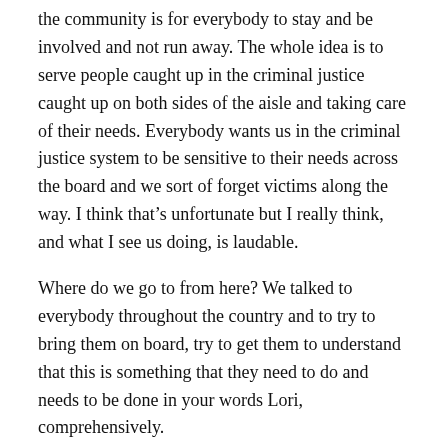the community is for everybody to stay and be involved and not run away. The whole idea is to serve people caught up in the criminal justice caught up on both sides of the aisle and taking care of their needs. Everybody wants us in the criminal justice system to be sensitive to their needs across the board and we sort of forget victims along the way. I think that's unfortunate but I really think, and what I see us doing, is laudable.
Where do we go to from here? We talked to everybody throughout the country and to try to bring them on board, try to get them to understand that this is something that they need to do and needs to be done in your words Lori, comprehensively.
Lori: Well, Anne, can you describe just a little bit of the work that you've done in one of the JRA sites?
Anne: Yeah. I think, and Len this is another whole podcast, but